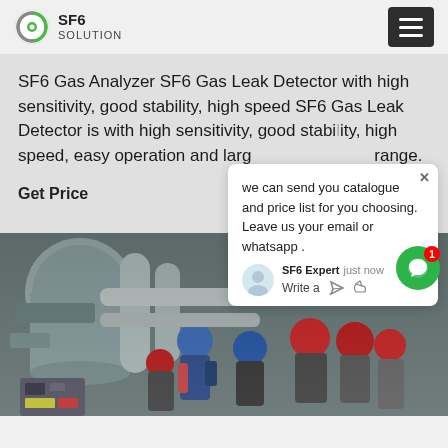SF6 SOLUTION
SF6 Gas Analyzer SF6 Gas Leak Detector with high sensitivity, good stability, high speed SF6 Gas Leak Detector is with high sensitivity, good stability, high speed, easy operation and large range.
Get Price
[Figure (screenshot): Chat popup overlay from SF6 Expert saying 'we can send you catalogue and price list for you choosing. Leave us your email or whatsapp .' with avatar and 'just now' timestamp and Write a message area]
[Figure (photo): Workers in blue and red hard hats working on large industrial SF6 gas equipment/pipes]